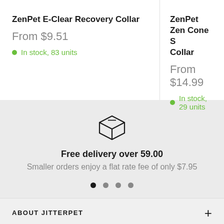ZenPet E-Clear Recovery Collar
From $9.51
In stock, 83 units
ZenPet Zen Cone S Collar
From $14.99
In stock, 29 units
[Figure (illustration): Box/package icon representing shipping or delivery]
Free delivery over 59.00
Smaller orders enjoy a flat rate fee of only $7.95
ABOUT JITTERPET